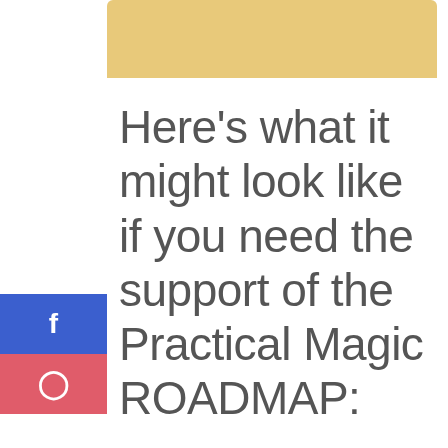[Figure (other): Golden/tan colored banner at top of page, partially visible, with rounded top corners]
Here's what it might look like if you need the support of the Practical Magic ROADMAP:
[Figure (other): Social media sidebar buttons: Facebook (blue with f icon) and Instagram (pink/red with camera icon)]